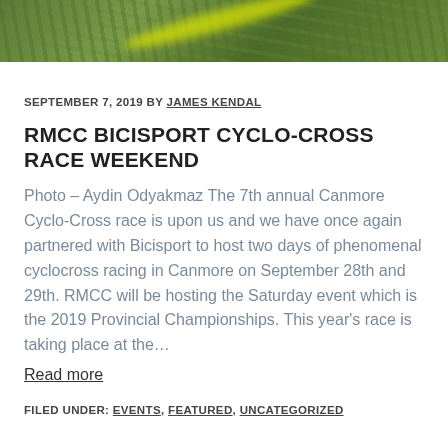[Figure (photo): Partial photo of a bicycle or sports equipment on grass, cropped at top of page]
SEPTEMBER 7, 2019 BY JAMES KENDAL
RMCC BICISPORT CYCLO-CROSS RACE WEEKEND
Photo – Aydin Odyakmaz The 7th annual Canmore Cyclo-Cross race is upon us and we have once again partnered with Bicisport to host two days of phenomenal cyclocross racing in Canmore on September 28th and 29th. RMCC will be hosting the Saturday event which is the 2019 Provincial Championships. This year's race is taking place at the…
Read more
FILED UNDER: EVENTS, FEATURED, UNCATEGORIZED